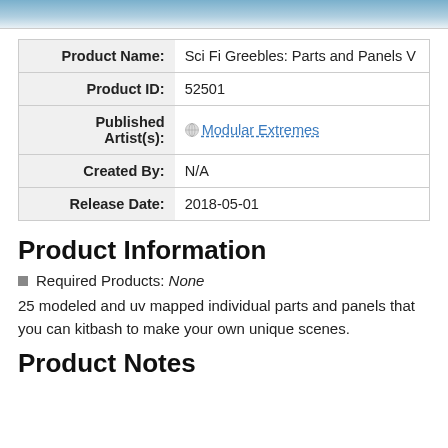[Figure (photo): Partial top edge of a sci-fi greeble product image, showing blue/grey metallic surface.]
| Product Name: | Sci Fi Greebles: Parts and Panels V |
| Product ID: | 52501 |
| Published Artist(s): | Modular Extremes |
| Created By: | N/A |
| Release Date: | 2018-05-01 |
Product Information
Required Products: None
25 modeled and uv mapped individual parts and panels that you can kitbash to make your own unique scenes.
Product Notes